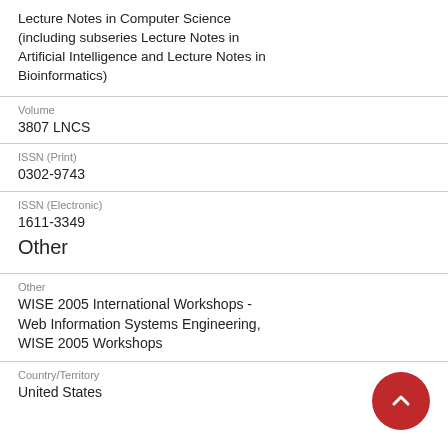Lecture Notes in Computer Science (including subseries Lecture Notes in Artificial Intelligence and Lecture Notes in Bioinformatics)
Volume
3807 LNCS
ISSN (Print)
0302-9743
ISSN (Electronic)
1611-3349
Other
Other
WISE 2005 International Workshops - Web Information Systems Engineering, WISE 2005 Workshops
Country/Territory
United States